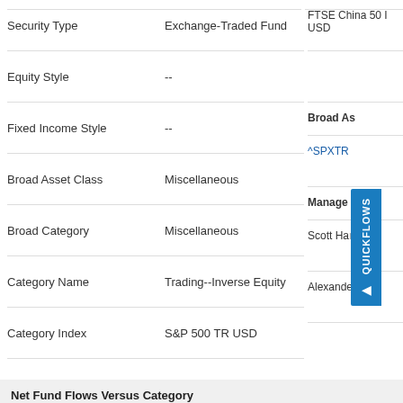| Field | Value |
| --- | --- |
| Security Type | Exchange-Traded Fund |
| Equity Style | -- |
| Fixed Income Style | -- |
| Broad Asset Class | Miscellaneous |
| Broad Category | Miscellaneous |
| Category Name | Trading--Inverse Equity |
| Category Index | S&P 500 TR USD |
| Prospectus Objective | Pacific Stock |
| Fund Owner Firm Name | ProShares |
FTSE China 50 USD
Broad As...
^SPXTR
Manage...
Scott Hanson
Alexander Ilyas
Net Fund Flows Versus Category